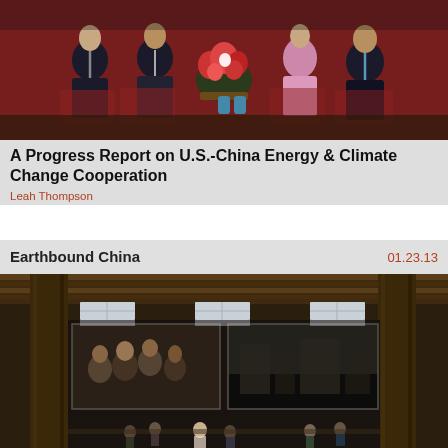[Figure (photo): Four people in formal attire seated in a meeting room with red floral wall decoration and a flower arrangement on a table between them]
A Progress Report on U.S.-China Energy & Climate Change Cooperation
Leah Thompson
Earthbound China
01.23.13
[Figure (photo): Interior of a traditional Chinese wooden building with large photographs displayed on the walls showing coal miners and industrial scenes; people visible in the lower portion]